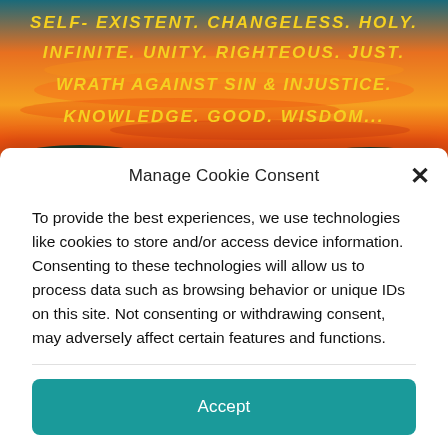[Figure (photo): A sunset sky with orange and red hues. Bold yellow italic text overlaid reads: SELF-EXISTENT. CHANGELESS. HOLY. INFINITE. UNITY. RIGHTEOUS. JUST. WRATH AGAINST SIN & INJUSTICE. KNOWLEDGE. GOOD. WISDOM...]
Manage Cookie Consent
To provide the best experiences, we use technologies like cookies to store and/or access device information. Consenting to these technologies will allow us to process data such as browsing behavior or unique IDs on this site. Not consenting or withdrawing consent, may adversely affect certain features and functions.
Accept
Opt-out preferences